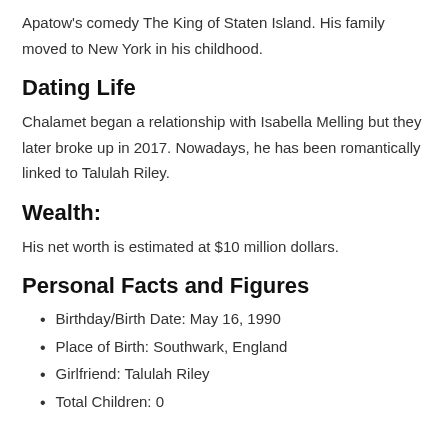Apatow's comedy The King of Staten Island. His family moved to New York in his childhood.
Dating Life
Chalamet began a relationship with Isabella Melling but they later broke up in 2017. Nowadays, he has been romantically linked to Talulah Riley.
Wealth:
His net worth is estimated at $10 million dollars.
Personal Facts and Figures
Birthday/Birth Date: May 16, 1990
Place of Birth: Southwark, England
Girlfriend: Talulah Riley
Total Children: 0